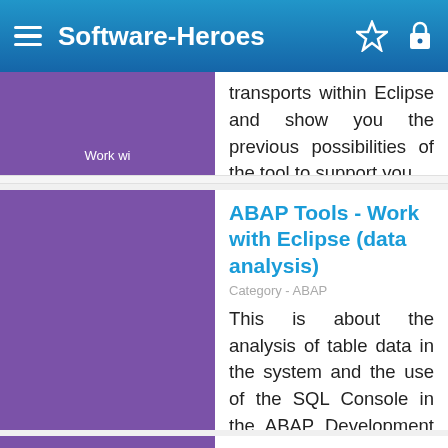Software-Heroes
transports within Eclipse and show you the previous possibilities of the tool to support you.
03/12/2021
ABAP Tools - Work with Eclipse (data analysis)
Category - ABAP
This is about the analysis of table data in the system and the use of the SQL Console in the ABAP Development Tools.
08/21/2020
ABAP Tools - Work with Eclipse (Debugging)